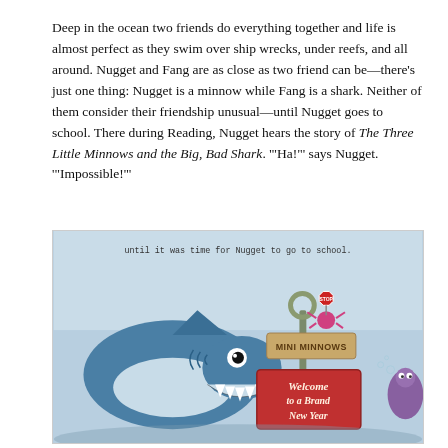Deep in the ocean two friends do everything together and life is almost perfect as they swim over ship wrecks, under reefs, and all around. Nugget and Fang are as close as two friend can be—there's just one thing: Nugget is a minnow while Fang is a shark. Neither of them consider their friendship unusual—until Nugget goes to school. There during Reading, Nugget hears the story of The Three Little Minnows and the Big, Bad Shark. '"Ha!"' says Nugget. '"Impossible!"'
[Figure (illustration): Children's book illustration showing a large cartoon shark with big eyes and teeth looking at a sign that reads 'MINI MINNOWS' and below it a red banner reading 'Welcome to a Brand New Year'. A small pink crab with a stop sign sits on top of the anchor post. The scene is set underwater with a light blue background. Text at top reads 'until it was time for Nugget to go to school.']